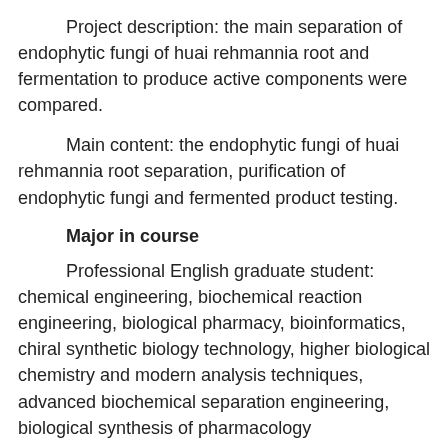Project description: the main separation of endophytic fungi of huai rehmannia root and fermentation to produce active components were compared.
Main content: the endophytic fungi of huai rehmannia root separation, purification of endophytic fungi and fermented product testing.
Major in course
Professional English graduate student: chemical engineering, biochemical reaction engineering, biological pharmacy, bioinformatics, chiral synthetic biology technology, higher biological chemistry and modern analysis techniques, advanced biochemical separation engineering, biological synthesis of pharmacology